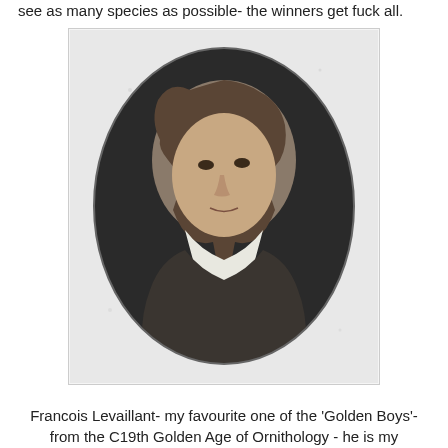see as many species as possible- the winners get fuck all.
[Figure (illustration): Black and white engraved portrait of Francois Levaillant, a man with long wavy hair, wearing a white cravat and dark coat, shown in an oval frame.]
Francois Levaillant- my favourite one of the 'Golden Boys'- from the C19th Golden Age of Ornithology - he is my